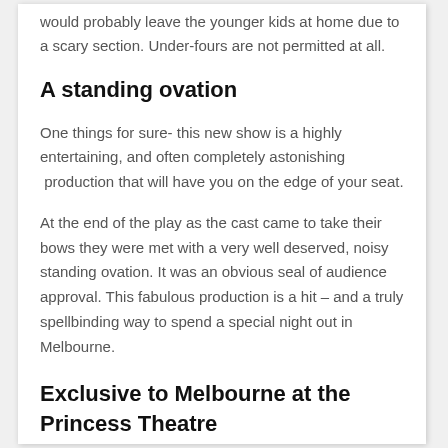would probably leave the younger kids at home due to a scary section. Under-fours are not permitted at all.
A standing ovation
One things for sure- this new show is a highly entertaining, and often completely astonishing production that will have you on the edge of your seat.
At the end of the play as the cast came to take their bows they were met with a very well deserved, noisy standing ovation. It was an obvious seal of audience approval. This fabulous production is a hit – and a truly spellbinding way to spend a special night out in Melbourne.
Exclusive to Melbourne at the Princess Theatre